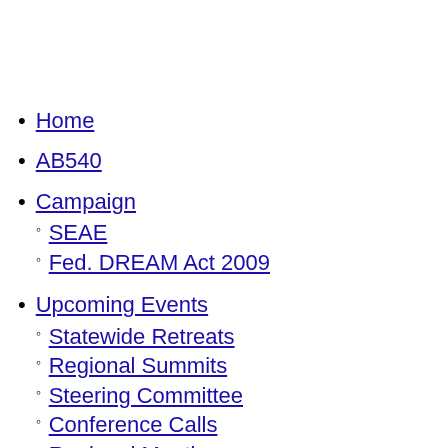Home
AB540
Campaign
SEAE
Fed. DREAM Act 2009
Upcoming Events
Statewide Retreats
Regional Summits
Steering Committee
Conference Calls
Regional Meetings
Resources
Scholarships
Organizing Toolkit